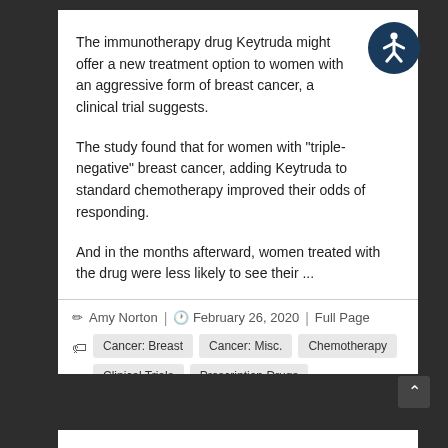The immunotherapy drug Keytruda might offer a new treatment option to women with an aggressive form of breast cancer, a clinical trial suggests.
The study found that for women with "triple-negative" breast cancer, adding Keytruda to standard chemotherapy improved their odds of responding.
And in the months afterward, women treated with the drug were less likely to see their ...
Amy Norton  |  February 26, 2020  |  Full Page
Cancer: Breast
Cancer: Misc.
Chemotherapy
Clinical Trials
Prescription Drugs
Women's Problems: Misc.